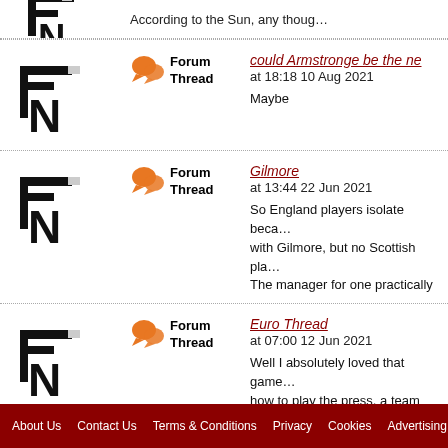Forum Thread — could Armstronge be the ne... at 18:18 10 Aug 2021 — Maybe
Forum Thread — Gilmore at 13:44 22 Jun 2021 — So England players isolate beca... with Gilmore, but no Scottish pla... The manager for one practically
Forum Thread — Euro Thread at 07:00 12 Jun 2021 — Well I absolutely loved that game... how to play the press, a team wi... and energy.
Please log in to use all the site's facilities
About Us | Contact Us | Terms & Conditions | Privacy | Cookies | Advertising